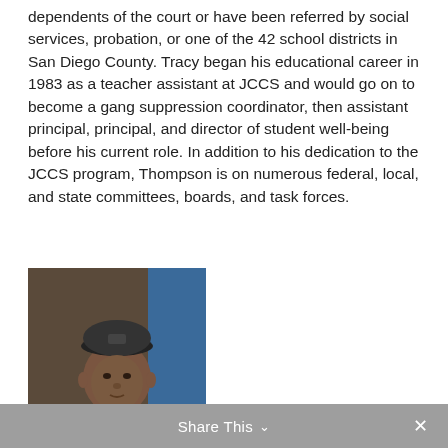dependents of the court or have been referred by social services, probation, or one of the 42 school districts in San Diego County. Tracy began his educational career in 1983 as a teacher assistant at JCCS and would go on to become a gang suppression coordinator, then assistant principal, principal, and director of student well-being before his current role. In addition to his dedication to the JCCS program, Thompson is on numerous federal, local, and state committees, boards, and task forces.
[Figure (photo): A young man wearing a grey hoodie and a black baseball cap, photographed in a slightly dim setting with a blue background visible to his left.]
Share This ∨  ✕